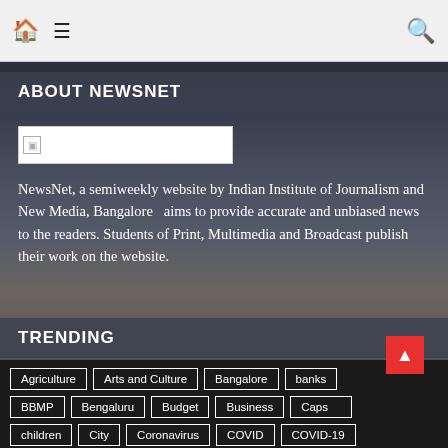Home | Menu | Search
ABOUT NEWSNET
[Figure (logo): NewsNet logo image placeholder]
NewsNet, a semiweekly website by Indian Institute of Journalism and New Media, Bangalore  aims to provide accurate and unbiased news to the readers. Students of Print, Multimedia and Broadcast publish their work on the website.
TRENDING
Agriculture
Arts and Culture
Bangalore
banks
BBMP
Bengaluru
Budget
Business
Caps...
children
City
Coronavirus
COVID
COVID-19